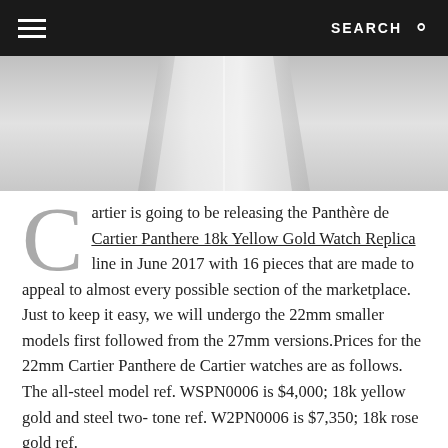SEARCH
[Figure (photo): Close-up photo of a watch or glass object on white/grey background]
Cartier is going to be releasing the Panthère de Cartier Panthere 18k Yellow Gold Watch Replica line in June 2017 with 16 pieces that are made to appeal to almost every possible section of the marketplace. Just to keep it easy, we will undergo the 22mm smaller models first followed from the 27mm versions. Prices for the 22mm Cartier Panthere de Cartier watches are as follows. The all-steel model ref. WSPN0006 is $4,000; 18k yellow gold and steel two-tone ref. W2PN0006 is $7,350; 18k rose gold ref.